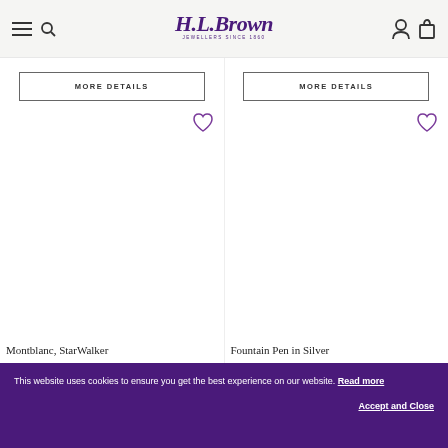H.L.Brown Jewellers Since 1860 — navigation header with menu, search, account, and bag icons
MORE DETAILS
MORE DETAILS
[Figure (photo): Product display area for Montblanc StarWalker pen with wishlist heart icon]
[Figure (photo): Product display area for Fountain Pen in Silver with wishlist heart icon]
Montblanc, StarWalker
Fountain Pen in Silver
This website uses cookies to ensure you get the best experience on our website. Read more
Accept and Close